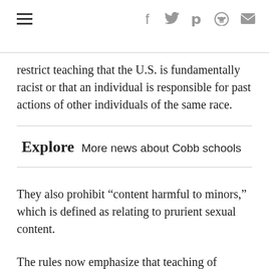≡ f 𝕐 𝗽 reddit ✉
restrict teaching that the U.S. is fundamentally racist or that an individual is responsible for past actions of other individuals of the same race.
Explore  More news about Cobb schools
They also prohibit “content harmful to minors,” which is defined as relating to prurient sexual content.
The rules now emphasize that teaching of political or religious topics should be “balanced” — a point